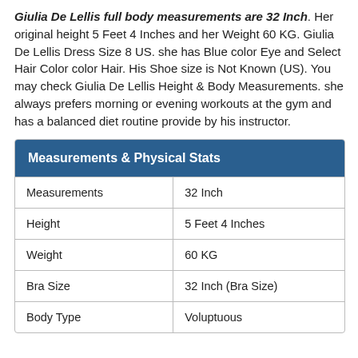Giulia De Lellis full body measurements are 32 Inch. Her original height 5 Feet 4 Inches and her Weight 60 KG. Giulia De Lellis Dress Size 8 US. she has Blue color Eye and Select Hair Color color Hair. His Shoe size is Not Known (US). You may check Giulia De Lellis Height & Body Measurements. she always prefers morning or evening workouts at the gym and has a balanced diet routine provide by his instructor.
| Measurements & Physical Stats |  |
| --- | --- |
| Measurements | 32 Inch |
| Height | 5 Feet 4 Inches |
| Weight | 60 KG |
| Bra Size | 32 Inch (Bra Size) |
| Body Type | Voluptuous |